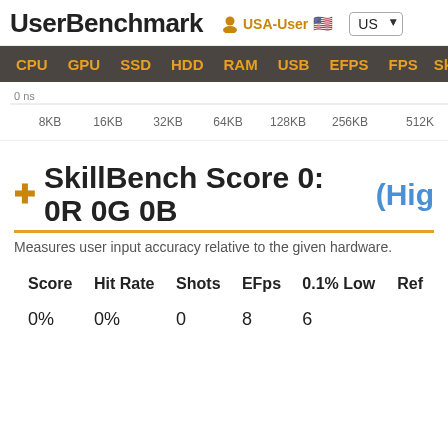UserBenchmark  USA-User  US
CPU  GPU  SSD  HDD  RAM  USB  EFPS  FPS  Sk
[Figure (continuous-plot): Partial chart showing x-axis labels: 0 ns, 8KB, 16KB, 32KB, 64KB, 128KB, 256KB, 512K]
SkillBench Score 0: 0R 0G 0B (Hig
Measures user input accuracy relative to the given hardware.
| Score | Hit Rate | Shots | EFps | 0.1% Low | Ref |
| --- | --- | --- | --- | --- | --- |
| 0% | 0% | 0 | 8 | 6 |  |